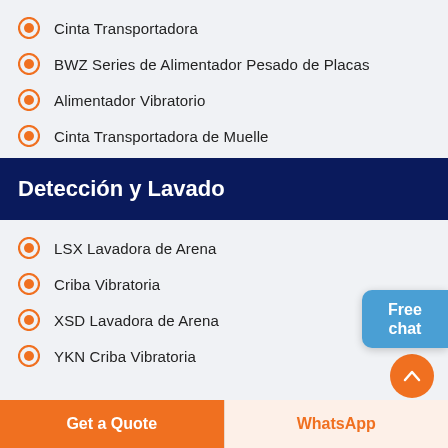Cinta Transportadora
BWZ Series de Alimentador Pesado de Placas
Alimentador Vibratorio
Cinta Transportadora de Muelle
Detección y Lavado
LSX Lavadora de Arena
Criba Vibratoria
XSD Lavadora de Arena
YKN Criba Vibratoria